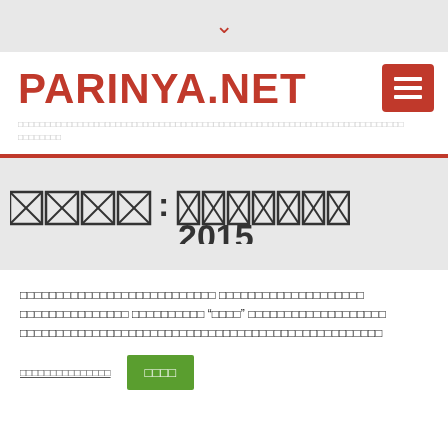▾
PARINYA.NET
[Thai tagline text - website description]
XXXX: XXXXXXX 2015
[Thai article preview text with quoted word]
[Read more link and button with Thai text]